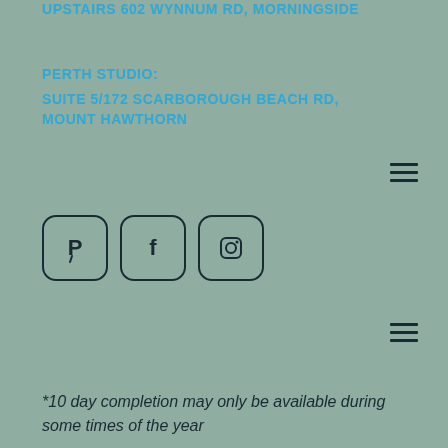UPSTAIRS 602 WYNNUM RD, MORNINGSIDE
PERTH STUDIO:
SUITE 5/172 SCARBOROUGH BEACH RD, MOUNT HAWTHORN
[Figure (other): Hamburger menu icon (three horizontal lines)]
[Figure (other): Social media icons: Pinterest, Facebook, Instagram in rounded square buttons]
[Figure (other): Hamburger menu icon (three horizontal lines)]
*10 day completion may only be available during some times of the year